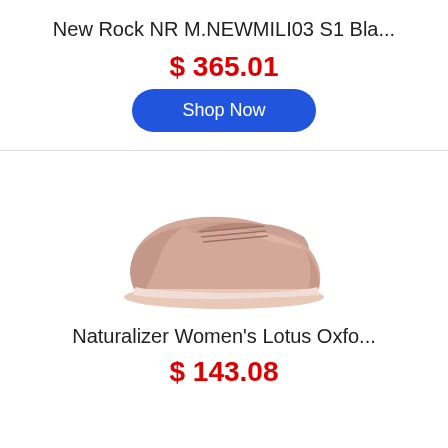New Rock NR M.NEWMILI03 S1 Bla...
$ 365.01
Shop Now
[Figure (photo): Pink/rose women's sneaker (Naturalizer Women's Lotus Oxford) shown from the side on a white background]
Naturalizer Women's Lotus Oxfo...
$ 143.08